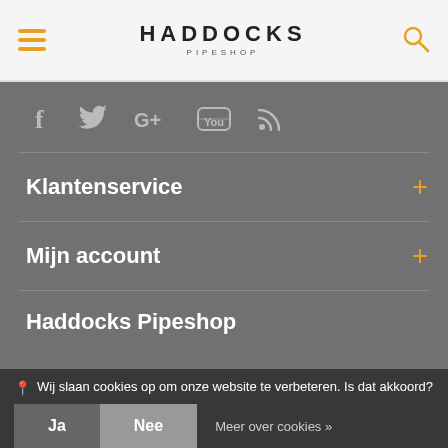HADDOCKS PIPESHOP
[Figure (illustration): Social media icons: Facebook (f), Twitter (bird), Google+, YouTube, RSS feed]
Klantenservice
Mijn account
Haddocks Pipeshop
Wij slaan cookies op om onze website te verbeteren. Is dat akkoord?
Ja   Nee   Meer over cookies »